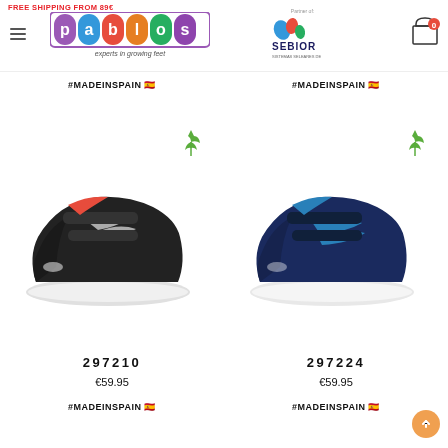FREE SHIPPING FROM 89€ | Pablosky — experts in growing feet | Partner of: SEBIOR
#MADEINSPAIN 🇪🇸
#MADEINSPAIN 🇪🇸
[Figure (photo): Black children's sneaker with velcro straps and red interior lining, eco-friendly icon]
[Figure (photo): Navy blue children's sneaker with blue velcro straps, eco-friendly icon]
297210
€59.95
#MADEINSPAIN 🇪🇸
297224
€59.95
#MADEINSPAIN 🇪🇸